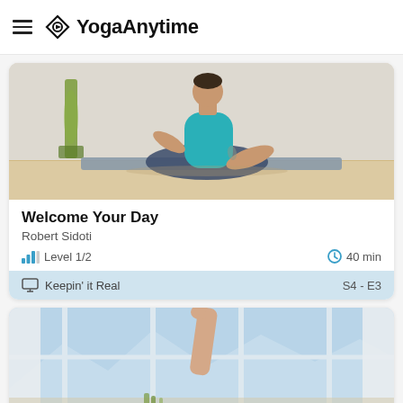YogaAnytime
[Figure (photo): Man in teal tank top sitting cross-legged on a grey yoga mat, reaching one arm to the side, in a bright studio with a tall green plant in the background]
Welcome Your Day
Robert Sidoti
Level 1/2  |  40 min
Keepin' it Real   S4 - E3
[Figure (photo): Person raising one arm up in a bright studio with large panoramic windows overlooking snowy mountains]